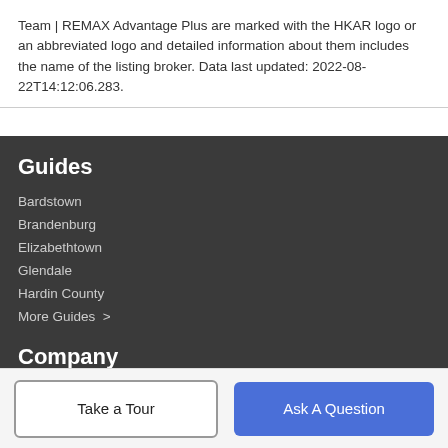Team | REMAX Advantage Plus are marked with the HKAR logo or an abbreviated logo and detailed information about them includes the name of the listing broker. Data last updated: 2022-08-22T14:12:06.283.
Guides
Bardstown
Brandenburg
Elizabethtown
Glendale
Hardin County
More Guides >
Company
About Us
Take a Tour
Ask A Question